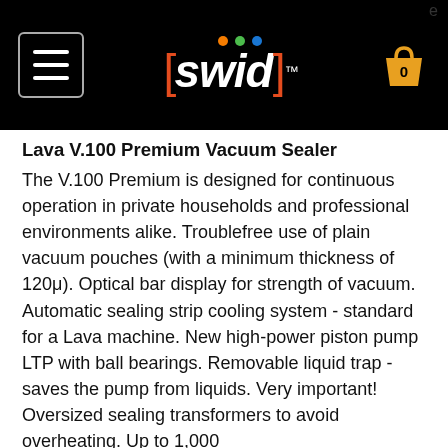[Figure (logo): Swid website header with hamburger menu icon, Swid logo with colored bracket and dots, and shopping cart icon on black background]
Lava V.100 Premium Vacuum Sealer
The V.100 Premium is designed for continuous operation in private households and professional environments alike. Troublefree use of plain vacuum pouches (with a minimum thickness of 120μ). Optical bar display for strength of vacuum. Automatic sealing strip cooling system - standard for a Lava machine. New high-power piston pump LTP with ball bearings. Removable liquid trap - saves the pump from liquids. Very important! Oversized sealing transformers to avoid overheating. Up to 1,000 sealings per session.